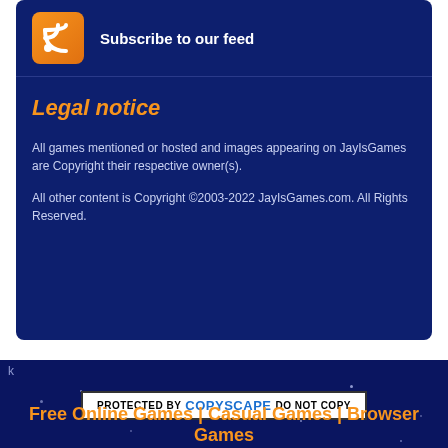[Figure (logo): RSS feed orange icon with wifi signal symbol]
Subscribe to our feed
Legal notice
All games mentioned or hosted and images appearing on JayIsGames are Copyright their respective owner(s).
All other content is Copyright ©2003-2022 JayIsGames.com. All Rights Reserved.
[Figure (infographic): Protected by Copyscape Do Not Copy badge]
Free Online Games | Casual Games | Browser Games